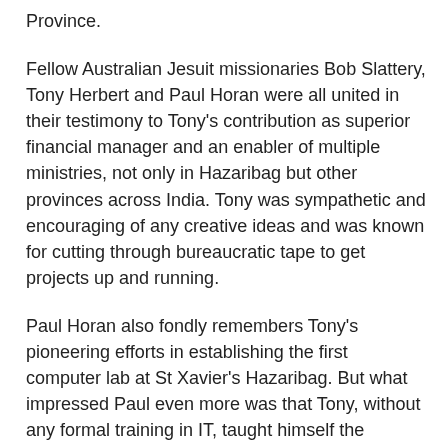Province.
Fellow Australian Jesuit missionaries Bob Slattery, Tony Herbert and Paul Horan were all united in their testimony to Tony's contribution as superior financial manager and an enabler of multiple ministries, not only in Hazaribag but other provinces across India. Tony was sympathetic and encouraging of any creative ideas and was known for cutting through bureaucratic tape to get projects up and running.
Paul Horan also fondly remembers Tony's pioneering efforts in establishing the first computer lab at St Xavier's Hazaribag. But what impressed Paul even more was that Tony, without any formal training in IT, taught himself the computer language, Cobol. He wrote financial management programs for Treasurers and timetabling tools for teachers.